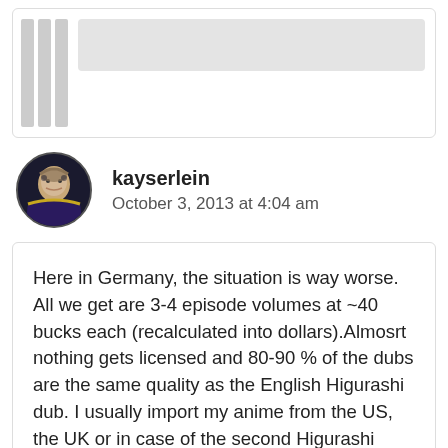[Figure (illustration): Partial top of a previous comment with grey placeholder lines and box, showing the bottom of a comment card with border.]
kayserlein
October 3, 2013 at 4:04 am
Here in Germany, the situation is way worse. All we get are 3-4 episode volumes at ~40 bucks each (recalculated into dollars).Almosrt nothing gets licensed and 80-90 % of the dubs are the same quality as the English Higurashi dub. I usually import my anime from the US, the UK or in case of the second Higurashi season from Australia since I don't